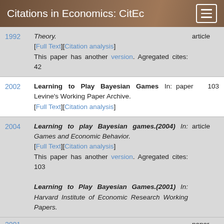Citations in Economics: CitEc
1992 | Theory. [Full Text][Citation analysis] This paper has another version. Agregated cites: 42 | article
2002 | Learning to Play Bayesian Games In: Levine's Working Paper Archive. [Full Text][Citation analysis] | paper | 103
2004 | Learning to play Bayesian games.(2004) In: Games and Economic Behavior. [Full Text][Citation analysis] This paper has another version. Agregated cites: 103 | article
2001 | Learning to Play Bayesian Games.(2001) In: Harvard Institute of Economic Research Working Papers. | paper